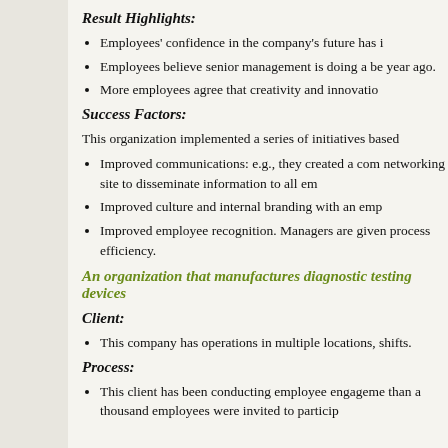Result Highlights:
Employees' confidence in the company's future has i
Employees believe senior management is doing a be year ago.
More employees agree that creativity and innovatio
Success Factors:
This organization implemented a series of initiatives based
Improved communications: e.g., they created a com networking site to disseminate information to all em
Improved culture and internal branding with an emp
Improved employee recognition. Managers are give process efficiency.
An organization that manufactures diagnostic testing devices
Client:
This company has operations in multiple locations, shifts.
Process:
This client has been conducting employee engageme than a thousand employees were invited to particip